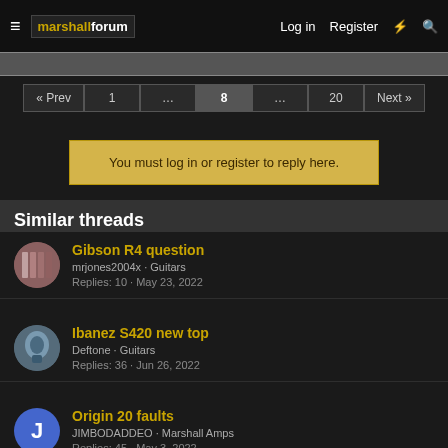marshallforum — Log in Register
« Prev  1  ...  8  ...  20  Next »
You must log in or register to reply here.
Similar threads
Gibson R4 question — mrjones2004x · Guitars — Replies: 10 · May 23, 2022
Ibanez S420 new top — Deftone · Guitars — Replies: 36 · Jun 26, 2022
Origin 20 faults — JIMBODADDEO · Marshall Amps — Replies: 45 · May 3, 2022